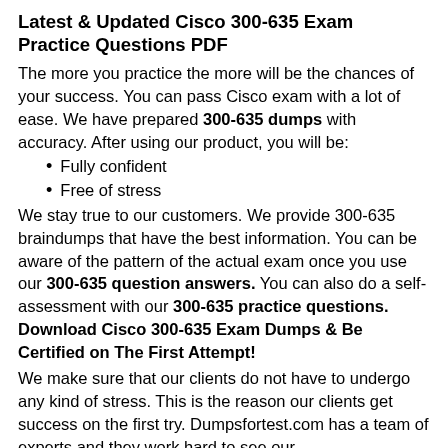Latest & Updated Cisco 300-635 Exam Practice Questions PDF
The more you practice the more will be the chances of your success. You can pass Cisco exam with a lot of ease. We have prepared 300-635 dumps with accuracy. After using our product, you will be:
Fully confident
Free of stress
We stay true to our customers. We provide 300-635 braindumps that have the best information. You can be aware of the pattern of the actual exam once you use our 300-635 question answers. You can also do a self-assessment with our 300-635 practice questions. Download Cisco 300-635 Exam Dumps & Be Certified on The First Attempt!
We make sure that our clients do not have to undergo any kind of stress. This is the reason our clients get success on the first try. Dumpsfortest.com has a team of experts and they work hard to see our